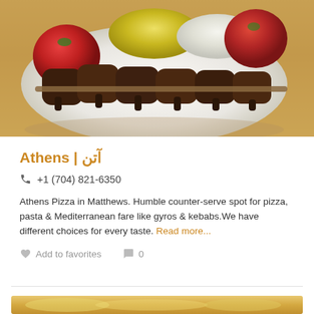[Figure (photo): Food photo showing a plate of kebabs on skewers with rice (yellow and white) and grilled tomatoes on a white plate, on a wooden table]
Athens | آتن
☎ +1 (704) 821-6350
Athens Pizza in Matthews. Humble counter-serve spot for pizza, pasta & Mediterranean fare like gyros & kebabs.We have different choices for every taste. Read more...
♥ Add to favorites   💬 0
[Figure (photo): Partial view of another food photo at the bottom of the page]